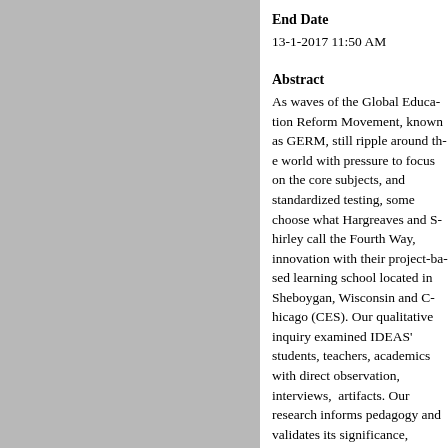End Date
13-1-2017 11:50 AM
Abstract
As waves of the Global Education Reform Movement, known as GERM, still ripple around the world with pressure to focus on the core subjects, and standardized testing, some choose what Hargreaves and Shirley call the Fourth Way, innovation with their project-based learning school located in Sheboygan, Wisconsin and Chicago (CES). Our qualitative inquiry examined IDEAS' students, teachers, academics with direct observation, interviews, artifacts. Our research informs pedagogy and validates its significance, demonstrates that democratic many instances to the contrary, research-based evidence that are potentially viable alternatives today's schools.
Comments
Co-authored with James G. La
Accepted for The Qualitative R